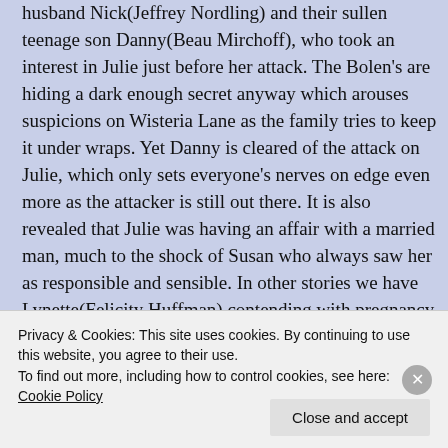husband Nick(Jeffrey Nordling) and their sullen teenage son Danny(Beau Mirchoff), who took an interest in Julie just before her attack. The Bolen's are hiding a dark enough secret anyway which arouses suspicions on Wisteria Lane as the family tries to keep it under wraps. Yet Danny is cleared of the attack on Julie, which only sets everyone's nerves on edge even more as the attacker is still out there. It is also revealed that Julie was having an affair with a married man, much to the shock of Susan who always saw her as responsible and sensible. In other stories we have Lynette(Felicity Huffman) contending with pregnancy and panicking that she won't be able to take care of twins, when she already has four children to look after
Privacy & Cookies: This site uses cookies. By continuing to use this website, you agree to their use.
To find out more, including how to control cookies, see here: Cookie Policy